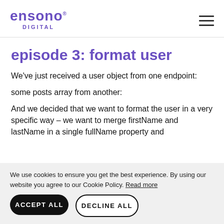ensono DIGITAL
episode 3: format user
We've just received a user object from one endpoint:
some posts array from another:
And we decided that we want to format the user in a very specific way – we want to merge firstName and lastName in a single fullName property and
We use cookies to ensure you get the best experience. By using our website you agree to our Cookie Policy. Read more
ACCEPT ALL
DECLINE ALL